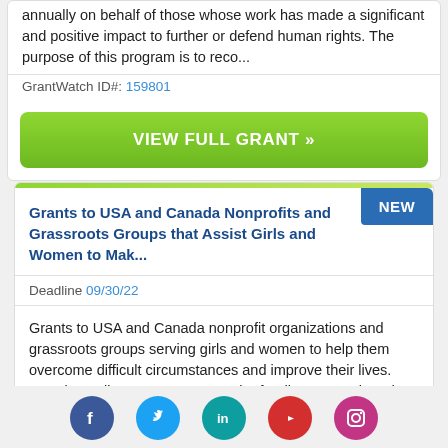annually on behalf of those whose work has made a significant and positive impact to further or defend human rights. The purpose of this program is to reco...
GrantWatch ID#: 159801
VIEW FULL GRANT »
Grants to USA and Canada Nonprofits and Grassroots Groups that Assist Girls and Women to Mak...
Deadline 09/30/22
Grants to USA and Canada nonprofit organizations and grassroots groups serving girls and women to help them overcome difficult circumstances and improve their lives. Certain applicants must contact the funding source in order to apply. Funding is intended for programs ...
Social media icons: Facebook, Twitter, LinkedIn, YouTube, Instagram